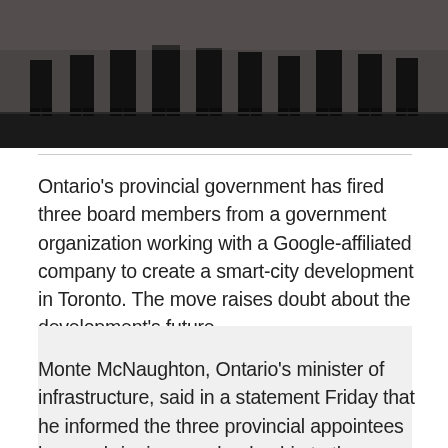[Figure (photo): Photo showing legs and feet of several people standing on a raised stage platform, shot from a low angle]
Ontario's provincial government has fired three board members from a government organization working with a Google-affiliated company to create a smart-city development in Toronto. The move raises doubt about the development's future.
[Figure (photo): Gray placeholder box for embedded media or advertisement]
Monte McNaughton, Ontario's minister of infrastructure, said in a statement Friday that he informed the three provincial appointees he was bringing new leadership to the Waterfront Toronto board.